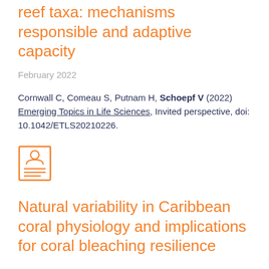reef taxa: mechanisms responsible and adaptive capacity
February 2022
Cornwall C, Comeau S, Putnam H, Schoepf V (2022) Emerging Topics in Life Sciences, Invited perspective, doi: 10.1042/ETLS20210226.
[Figure (other): Icon of a person profile card with lines representing text]
Natural variability in Caribbean coral physiology and implications for coral bleaching resilience